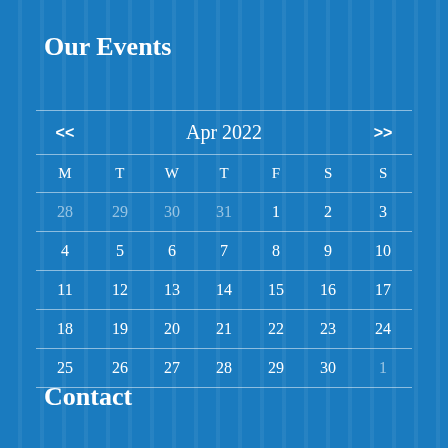Our Events
| << | Apr 2022 |  |  |  |  | >> | M | T | W | T | F | S | S |
| --- | --- | --- | --- | --- | --- | --- | --- | --- | --- | --- | --- | --- | --- |
| 28 | 29 | 30 | 31 | 1 | 2 | 3 |
| 4 | 5 | 6 | 7 | 8 | 9 | 10 |
| 11 | 12 | 13 | 14 | 15 | 16 | 17 |
| 18 | 19 | 20 | 21 | 22 | 23 | 24 |
| 25 | 26 | 27 | 28 | 29 | 30 | 1 |
Contact